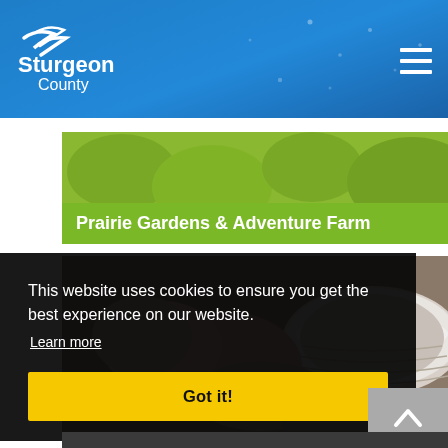[Figure (logo): Sturgeon County government logo with white stylized bird/wave and text 'Sturgeon County' in white on blue background]
[Figure (screenshot): Green banner/caption bar with text 'Prairie Gardens & Adventure Farm']
[Figure (photo): Close-up photograph of hands shaping a clay bowl on a pottery wheel]
This website uses cookies to ensure you get the best experience on our website.
Learn more
Got it!